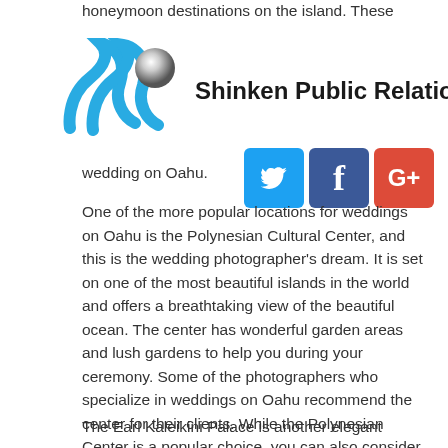honeymoon destinations on the island. These
[Figure (logo): Shinken Public Relations logo with blue wave/swoosh graphic and sphere element]
wedding on Oahu.
[Figure (infographic): Social media icons: Twitter (blue bird icon), Facebook (blue f icon), Google+ (red G+ icon)]
One of the more popular locations for weddings on Oahu is the Polynesian Cultural Center, and this is the wedding photographer's dream. It is set on one of the most beautiful islands in the world and offers a breathtaking view of the beautiful ocean. The center has wonderful garden areas and lush gardens to help you during your ceremony. Some of the photographers who specialize in weddings on Oahu recommend the center for their clients. While the Polynesian Center is a popular choice, you can also consider other areas that offer the same features.
The Earl Kaleikini Palace is another elegant